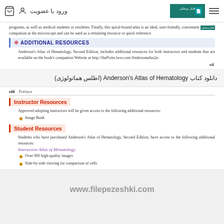ورود یا عضویت [site header with logo and hamburger menu]
programs, as well as medical students or residents. Finally, this spiral-bound atlas is an ideal, user-friendly, convenient companion at the microscope and can be used as a retraining resource or quick reference.
ADDITIONAL RESOURCES
Anderson's Atlas of Hematology, Second Edition, includes additional resources for both instructors and students that are available on the book's companion Website at http://thePoint.lww.com/Andersonatlas2e.
vii
دانلود کتاب Anderson's Atlas of Hematology (اطلس هماتولوژی)
viii  Preface
Instructor Resources
Approved adopting instructors will be given access to the following additional resources:
Image Bank
Student Resources
Students who have purchased Anderson's Atlas of Hematology, Second Edition, have access to the following additional resources:
Interactive Atlas of Hematology
Over 900 high-quality images
Side-by-side viewing for comparison of cells